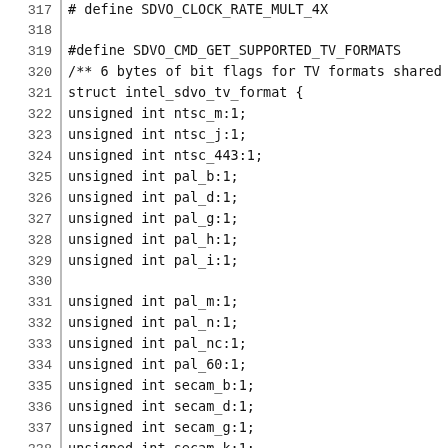317  # define SDVO_CLOCK_RATE_MULT_4X
318
319  #define SDVO_CMD_GET_SUPPORTED_TV_FORMATS
320  /** 6 bytes of bit flags for TV formats shared
321  struct intel_sdvo_tv_format {
322       unsigned int ntsc_m:1;
323       unsigned int ntsc_j:1;
324       unsigned int ntsc_443:1;
325       unsigned int pal_b:1;
326       unsigned int pal_d:1;
327       unsigned int pal_g:1;
328       unsigned int pal_h:1;
329       unsigned int pal_i:1;
330
331       unsigned int pal_m:1;
332       unsigned int pal_n:1;
333       unsigned int pal_nc:1;
334       unsigned int pal_60:1;
335       unsigned int secam_b:1;
336       unsigned int secam_d:1;
337       unsigned int secam_g:1;
338       unsigned int secam_k:1;
339
340       unsigned int secam_k1:1;
341       unsigned int secam_l:1;
342       unsigned int secam_60:1;
343       unsigned int hdtv_std_smpte_240m_1080i
344       unsigned int hdtv_std_smpte_240m_1080i
345       unsigned int hdtv_std_smpte_260m_1080i
346       unsigned int hdtv_std_smpte_260m_1080i